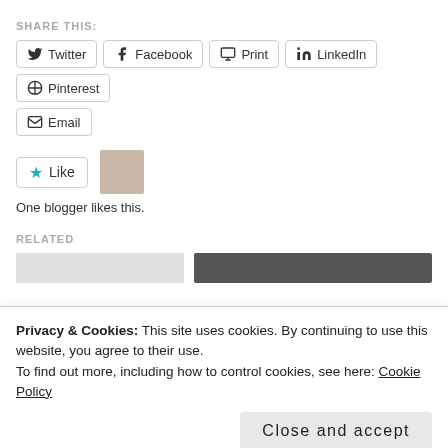SHARE THIS:
Twitter
Facebook
Print
LinkedIn
Pinterest
Email
One blogger likes this.
RELATED
Privacy & Cookies: This site uses cookies. By continuing to use this website, you agree to their use.
To find out more, including how to control cookies, see here: Cookie Policy
Close and accept
Thoughts on Paper...
Healthy...